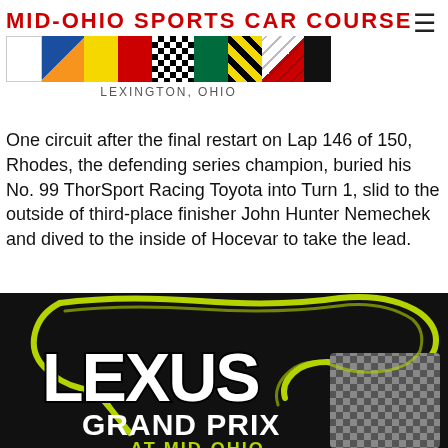MID-OHIO SPORTS CAR COURSE
LEXINGTON, OHIO
One circuit after the final restart on Lap 146 of 150, Rhodes, the defending series champion, buried his No. 99 ThorSport Racing Toyota into Turn 1, slid to the outside of third-place finisher John Hunter Nemechek and dived to the inside of Hocevar to take the lead.
Read more …
[Figure (logo): Lexus Grand Prix at Mid-Ohio logo — black background with yellow-green track outline, LEXUS in large white block letters, GRAND PRIX in white below, AT MID-OHIO in yellow-green partial text at bottom]